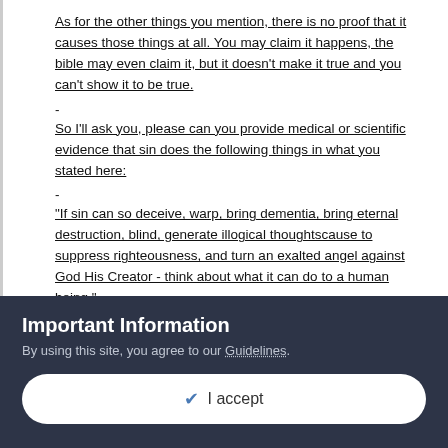As for the other things you mention, there is no proof that it causes those things at all. You may claim it happens, the bible may even claim it, but it doesn't make it true and you can't show it to be true.
-
So I'll ask you, please can you provide medical or scientific evidence that sin does the following things in what you stated here:
-
"If sin can so deceive, warp, bring dementia, bring eternal destruction, blind, generate illogical thoughtscause to suppress righteousness, and turn an exalted angel against God His Creator - think about what it can do to a human being."
-
Important Information
By using this site, you agree to our Guidelines.
✔ I accept